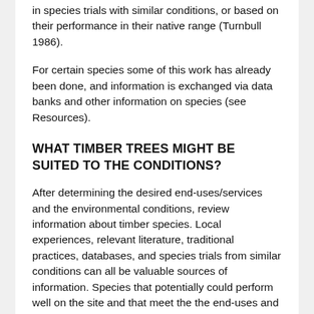in species trials with similar conditions, or based on their performance in their native range (Turnbull 1986).
For certain species some of this work has already been done, and information is exchanged via data banks and other information on species (see Resources).
WHAT TIMBER TREES MIGHT BE SUITED TO THE CONDITIONS?
After determining the desired end-uses/services and the environmental conditions, review information about timber species. Local experiences, relevant literature, traditional practices, databases, and species trials from similar conditions can all be valuable sources of information. Species that potentially could perform well on the site and that meet the the end-uses and can meet objectives...